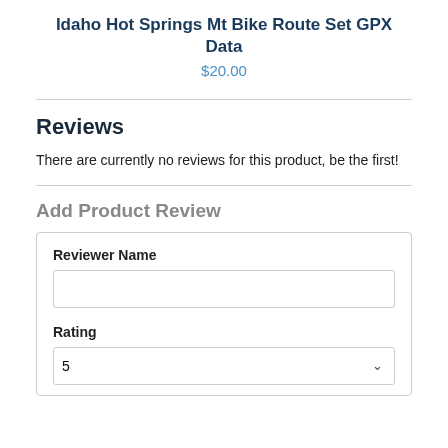Idaho Hot Springs Mt Bike Route Set GPX Data
$20.00
Reviews
There are currently no reviews for this product, be the first!
Add Product Review
Reviewer Name
Rating
5